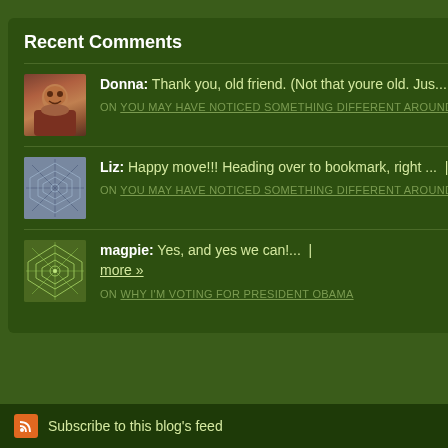Recent Comments
Donna: Thank you, old friend. (Not that youre old. Jus... | more » ON YOU MAY HAVE NOTICED SOMETHING DIFFERENT AROUND HERE
Liz: Happy move!!! Heading over to bookmark, right ... | more » ON YOU MAY HAVE NOTICED SOMETHING DIFFERENT AROUND HERE
magpie: Yes, and yes we can!... | more » ON WHY I'M VOTING FOR PRESIDENT OBAMA
The comments to t
P
Last day of summe
Subscribe to this blog's feed